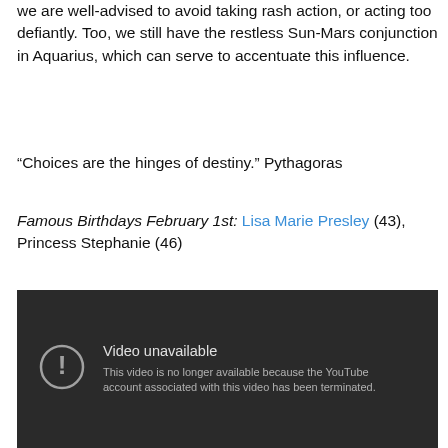we are well-advised to avoid taking rash action, or acting too defiantly. Too, we still have the restless Sun-Mars conjunction in Aquarius, which can serve to accentuate this influence.
“Choices are the hinges of destiny.” Pythagoras
Famous Birthdays February 1st: Lisa Marie Presley (43), Princess Stephanie (46)
[Figure (screenshot): Embedded YouTube video showing 'Video unavailable' error message: 'This video is no longer available because the YouTube account associated with this video has been terminated.']